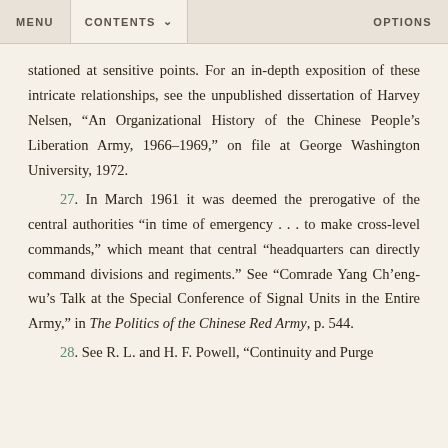MENU   CONTENTS   OPTIONS
stationed at sensitive points. For an in-depth exposition of these intricate relationships, see the unpublished dissertation of Harvey Nelsen, "An Organizational History of the Chinese People's Liberation Army, 1966–1969," on file at George Washington University, 1972.
27. In March 1961 it was deemed the prerogative of the central authorities "in time of emergency . . . to make cross-level commands," which meant that central "headquarters can directly command divisions and regiments." See "Comrade Yang Ch'eng-wu's Talk at the Special Conference of Signal Units in the Entire Army," in The Politics of the Chinese Red Army, p. 544.
28. See R. L. and H. F. Powell, "Continuity and Purge